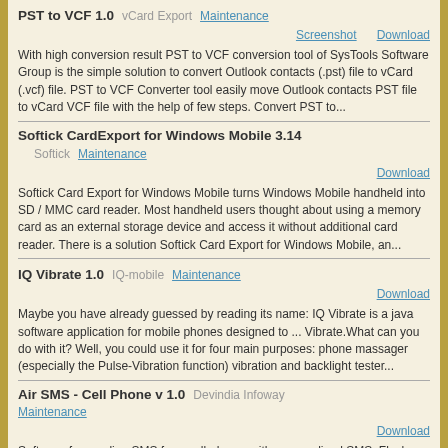PST to VCF 1.0
vCard Export
Maintenance
Screenshot   Download
With high conversion result PST to VCF conversion tool of SysTools Software Group is the simple solution to convert Outlook contacts (.pst) file to vCard (.vcf) file. PST to VCF Converter tool easily move Outlook contacts PST file to vCard VCF file with the help of few steps. Convert PST to...
Softick CardExport for Windows Mobile 3.14
Softick   Maintenance
Download
Softick Card Export for Windows Mobile turns Windows Mobile handheld into SD / MMC card reader. Most handheld users thought about using a memory card as an external storage device and access it without additional card reader. There is a solution Softick Card Export for Windows Mobile, an...
IQ Vibrate 1.0
IQ-mobile   Maintenance
Download
Maybe you have already guessed by reading its name: IQ Vibrate is a java software application for mobile phones designed to ... Vibrate.What can you do with it? Well, you could use it for four main purposes: phone massager (especially the Pulse-Vibration function) vibration and backlight tester...
Air SMS - Cell Phone v 1.0
Devindia Infoway
Maintenance
Download
Software for sending SMS from cell-phone, with personalized SMS, Flash SMS &